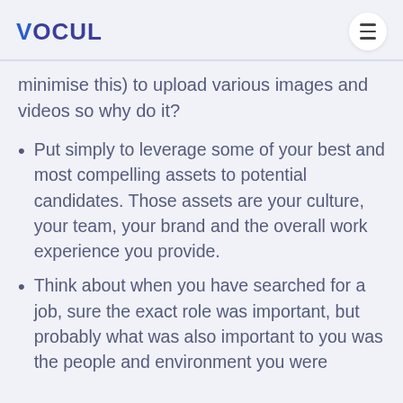VOCUL
minimise this) to upload various images and videos so why do it?
Put simply to leverage some of your best and most compelling assets to potential candidates. Those assets are your culture, your team, your brand and the overall work experience you provide.
Think about when you have searched for a job, sure the exact role was important, but probably what was also important to you was the people and environment you were